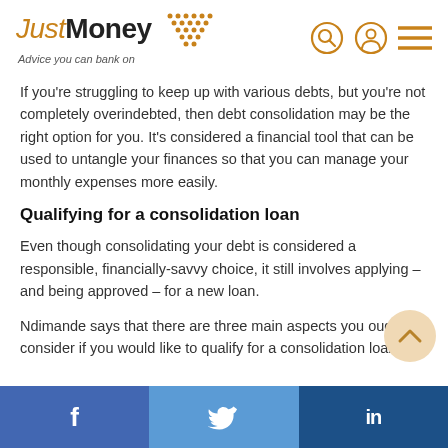JustMoney – Advice you can bank on
If you're struggling to keep up with various debts, but you're not completely overindebted, then debt consolidation may be the right option for you. It's considered a financial tool that can be used to untangle your finances so that you can manage your monthly expenses more easily.
Qualifying for a consolidation loan
Even though consolidating your debt is considered a responsible, financially-savvy choice, it still involves applying – and being approved – for a new loan.
Ndimande says that there are three main aspects you ought to consider if you would like to qualify for a consolidation loan:
[Figure (infographic): Facebook, Twitter, LinkedIn social sharing bar at bottom of page]
Facebook  Twitter  LinkedIn